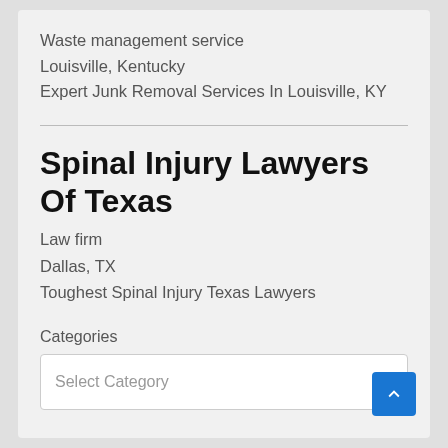Waste management service
Louisville, Kentucky
Expert Junk Removal Services In Louisville, KY
Spinal Injury Lawyers Of Texas
Law firm
Dallas, TX
Toughest Spinal Injury Texas Lawyers
Categories
Select Category